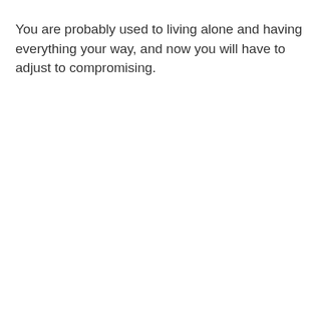You are probably used to living alone and having everything your way, and now you will have to adjust to compromising.